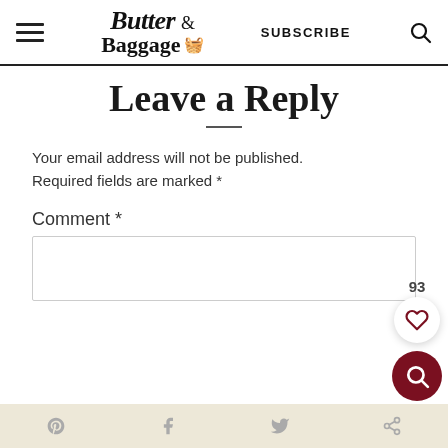Butter & Baggage — SUBSCRIBE
Leave a Reply
Your email address will not be published. Required fields are marked *
Comment *
Social share icons: Pinterest, Facebook, Twitter, Share